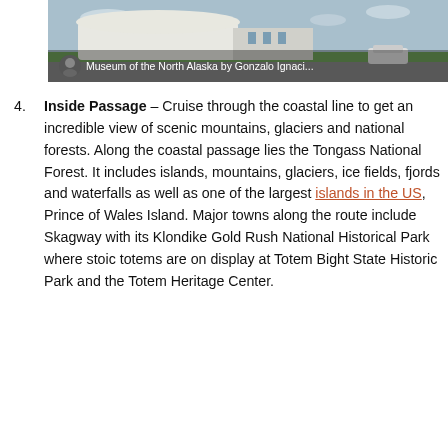[Figure (photo): Photo of Museum of the North Alaska, a modern white building with green lawn and parking area, with a caption overlay reading 'Museum of the North Alaska by Gonzalo Ignaci...']
Museum of the North Alaska by Gonzalo Ignaci...
Inside Passage – Cruise through the coastal line to get an incredible view of scenic mountains, glaciers and national forests. Along the coastal passage lies the Tongass National Forest. It includes islands, mountains, glaciers, ice fields, fjords and waterfalls as well as one of the largest islands in the US, Prince of Wales Island. Major towns along the route include Skagway with its Klondike Gold Rush National Historical Park where stoic totems are on display at Totem Bight State Historic Park and the Totem Heritage Center.